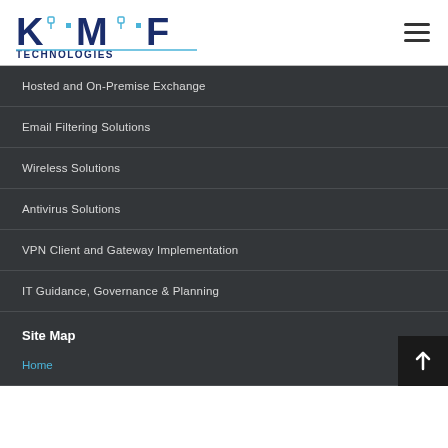KMF Technologies
Hosted and On-Premise Exchange
Email Filtering Solutions
Wireless Solutions
Antivirus Solutions
VPN Client and Gateway Implementation
IT Guidance, Governance & Planning
Site Map
Home